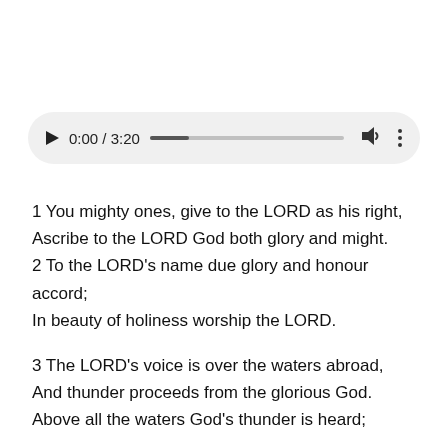[Figure (other): Audio player UI element showing play button, time 0:00 / 3:20, progress bar, volume icon, and options icon]
1 You mighty ones, give to the LORD as his right, Ascribe to the LORD God both glory and might. 2 To the LORD's name due glory and honour accord; In beauty of holiness worship the LORD.
3 The LORD's voice is over the waters abroad, And thunder proceeds from the glorious God. Above all the waters God's thunder is heard;